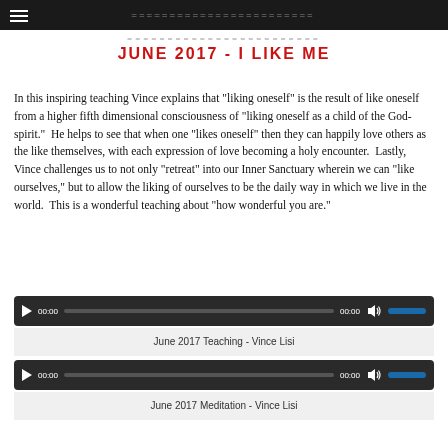≡  ========================
JUNE 2017 - I LIKE ME
In this inspiring teaching Vince explains that "liking oneself" is the result of like oneself from a higher fifth dimensional consciousness of "liking oneself as a child of the God-spirit."  He helps to see that when one "likes oneself" then they can happily love others as the like themselves, with each expression of love becoming a holy encounter.  Lastly, Vince challenges us to not only "retreat" into our Inner Sanctuary wherein we can "like ourselves," but to allow the liking of ourselves to be the daily way in which we live in the world.  This is a wonderful teaching about "how wonderful you are."
[Figure (screenshot): Audio player 1 with play button, 00:00 timestamps, progress bar, volume control showing blue volume bar]
June 2017 Teaching - Vince Lisi
[Figure (screenshot): Audio player 2 with play button, 00:00 timestamps, progress bar, volume control showing blue volume bar]
June 2017 Meditation - Vince Lisi